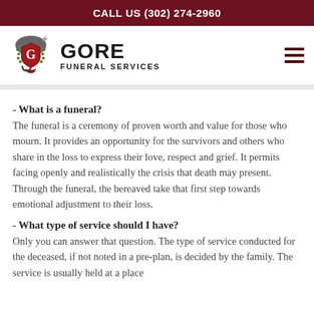CALL US (302) 274-2960
[Figure (logo): Gore Funeral Services logo with umbrella and shield emblem containing a red G, with wreath decoration]
- What is a funeral?
The funeral is a ceremony of proven worth and value for those who mourn. It provides an opportunity for the survivors and others who share in the loss to express their love, respect and grief. It permits facing openly and realistically the crisis that death may present. Through the funeral, the bereaved take that first step towards emotional adjustment to their loss.
- What type of service should I have?
Only you can answer that question. The type of service conducted for the deceased, if not noted in a pre-plan, is decided by the family. The service is usually held at a place